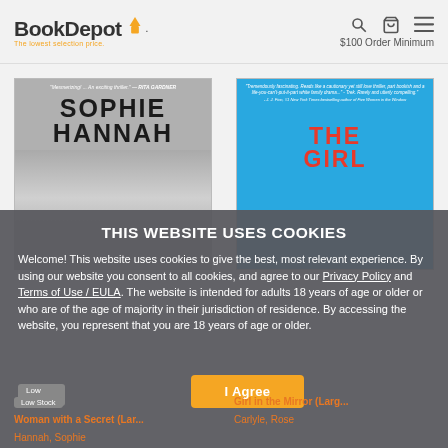[Figure (screenshot): BookDepot website header with logo, search icon, cart icon, hamburger menu, and '$100 Order Minimum' text]
[Figure (photo): Book cover: Sophie Hannah - Woman with a Secret (Large Print), gray-toned with large author name]
[Figure (photo): Book cover: The Girl in the Mirror (Large...) by Carlyle, Rose, blue cover with red title text]
THIS WEBSITE USES COOKIES
Welcome! This website uses cookies to give the best, most relevant experience. By using our website you consent to all cookies, and agree to our Privacy Policy and Terms of Use / EULA. The website is intended for adults 18 years of age or older or who are of the age of majority in their jurisdiction of residence. By accessing the website, you represent that you are 18 years of age or older.
I Agree
Low Stock
Woman with a Secret (Lar...
Hannah, Sophie
Girl in the Mirror (Larg...
Carlyle, Rose